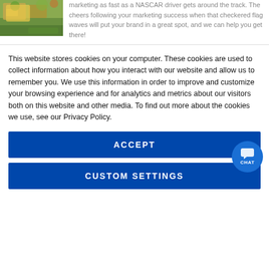[Figure (photo): Outdoor autumn scene with trees and vehicles]
marketing as fast as a NASCAR driver gets around the track. The cheers following your marketing success when that checkered flag waves will put your brand in a great spot, and we can help you get there!
This website stores cookies on your computer. These cookies are used to collect information about how you interact with our website and allow us to remember you. We use this information in order to improve and customize your browsing experience and for analytics and metrics about our visitors both on this website and other media. To find out more about the cookies we use, see our Privacy Policy.
ACCEPT
CUSTOM SETTINGS